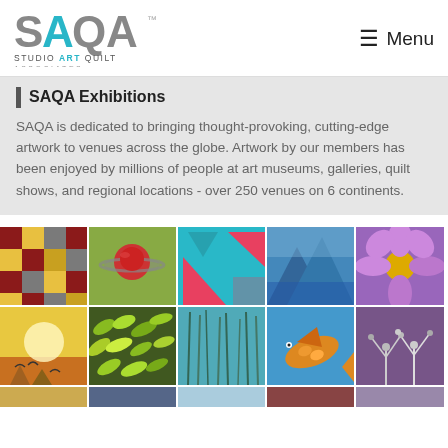[Figure (logo): SAQA Studio Art Quilt Associates logo with teal and gray lettering]
≡ Menu
SAQA Exhibitions
SAQA is dedicated to bringing thought-provoking, cutting-edge artwork to venues across the globe. Artwork by our members has been enjoyed by millions of people at art museums, galleries, quilt shows, and regional locations - over 250 venues on 6 continents.
[Figure (photo): Grid of quilt artwork images: top row shows checkered quilt, planet Saturn illustration, pink triangles on teal, blue mountain landscape, purple flower close-up; bottom row shows birds at sunset, green leaves texture, tall grass reeds on teal, colorful fish illustration, white tree branches on purple; partial third row visible at bottom]